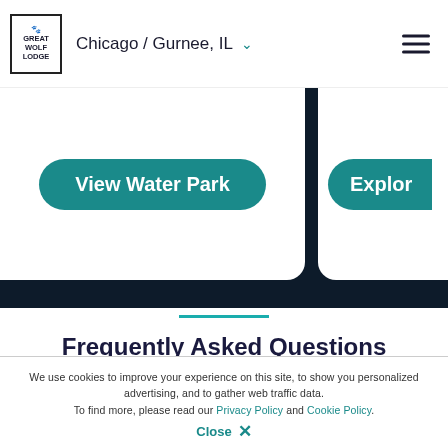Great Wolf Lodge — Chicago / Gurnee, IL
[Figure (screenshot): Dark banner with two white rounded-corner cards side by side. Left card has a teal rounded button labeled 'View Water Park'. Right card partially visible with a teal button labeled 'Explor[e]'. Background is dark navy.]
Frequently Asked Questions
How can I get the best deal on my Great Wolf vacation?
We use cookies to improve your experience on this site, to show you personalized advertising, and to gather web traffic data. To find more, please read our Privacy Policy and Cookie Policy.
Close